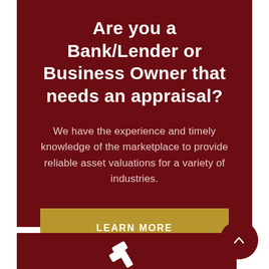Are you a Bank/Lender or Business Owner that needs an appraisal?
We have the experience and timely knowledge of the marketplace to provide reliable asset valuations for a variety of industries.
LEARN MORE
[Figure (illustration): Gavel/hammer icon in white at bottom of dark red section]
[Figure (illustration): Circular scroll-to-top button with upward arrow in dark red]